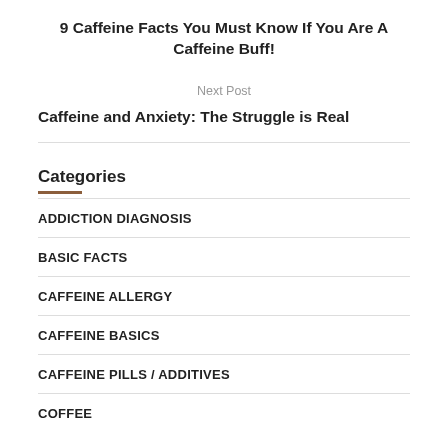9 Caffeine Facts You Must Know If You Are A Caffeine Buff!
Next Post
Caffeine and Anxiety: The Struggle is Real
Categories
ADDICTION DIAGNOSIS
BASIC FACTS
CAFFEINE ALLERGY
CAFFEINE BASICS
CAFFEINE PILLS / ADDITIVES
COFFEE